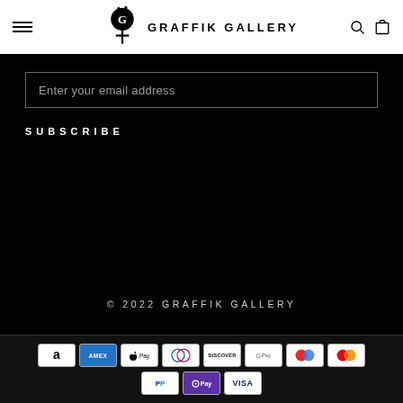GRAFFIK GALLERY
Enter your email address
SUBSCRIBE
© 2022 GRAFFIK GALLERY
[Figure (other): Payment method icons: Amazon, Amex, Apple Pay, Diners Club, Discover, Google Pay, Maestro, Mastercard, PayPal, OPay, Visa]